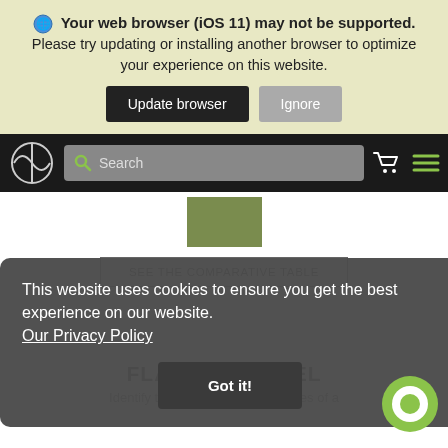Your web browser (iOS 11) may not be supported. Please try updating or installing another browser to optimize your experience on this website.
Update browser | Ignore
[Figure (screenshot): Navigation bar with logo, search box, cart icon, and hamburger menu on dark background]
[Figure (other): Olive/green colored rectangle partially visible at top]
SEE THE COMPARATIVE TABLE
This website uses cookies to ensure you get the best experience on our website. Our Privacy Policy
Got it!
FLAVOUR WHEEL
Identify the principal aromatic notes of a